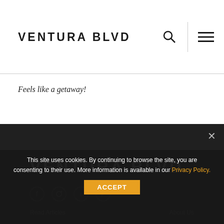VENTURA BLVD
Feels like a getaway!
VENTURA BLVD
[Figure (infographic): Social media icons: Facebook, Instagram, Twitter, Pinterest]
This site uses cookies. By continuing to browse the site, you are consenting to their use. More information is available in our Privacy Policy.
ACCEPT
Read Articles   About Us